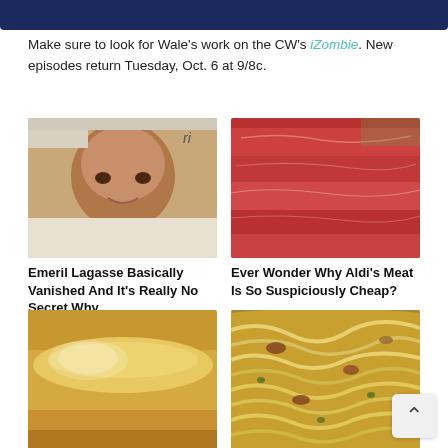[Figure (photo): Dark navy/blue banner at top of page, partially cut off]
Make sure to look for Wale's work on the CW's iZombie. New episodes return Tuesday, Oct. 6 at 9/8c.
[Figure (photo): Close-up photo of Emeril Lagasse's face]
[Figure (photo): Close-up photo of stacked raw red meat slices]
Emeril Lagasse Basically Vanished And It's Really No Secret Why
Ever Wonder Why Aldi's Meat Is So Suspiciously Cheap?
[Figure (photo): Close-up photo of a golden baked cake/cornbread]
[Figure (photo): Close-up photo of pasta dish with meat sauce]